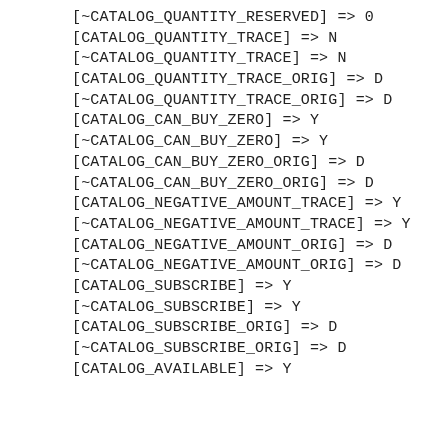[~CATALOG_QUANTITY_RESERVED] => 0
[CATALOG_QUANTITY_TRACE] => N
[~CATALOG_QUANTITY_TRACE] => N
[CATALOG_QUANTITY_TRACE_ORIG] => D
[~CATALOG_QUANTITY_TRACE_ORIG] => D
[CATALOG_CAN_BUY_ZERO] => Y
[~CATALOG_CAN_BUY_ZERO] => Y
[CATALOG_CAN_BUY_ZERO_ORIG] => D
[~CATALOG_CAN_BUY_ZERO_ORIG] => D
[CATALOG_NEGATIVE_AMOUNT_TRACE] => Y
[~CATALOG_NEGATIVE_AMOUNT_TRACE] => Y
[CATALOG_NEGATIVE_AMOUNT_ORIG] => D
[~CATALOG_NEGATIVE_AMOUNT_ORIG] => D
[CATALOG_SUBSCRIBE] => Y
[~CATALOG_SUBSCRIBE] => Y
[CATALOG_SUBSCRIBE_ORIG] => D
[~CATALOG_SUBSCRIBE_ORIG] => D
[CATALOG_AVAILABLE] => Y